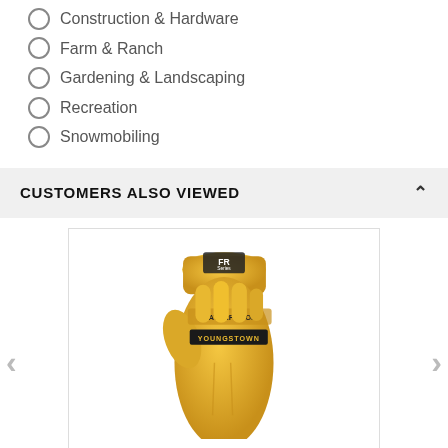Construction & Hardware
Farm & Ranch
Gardening & Landscaping
Recreation
Snowmobiling
CUSTOMERS ALSO VIEWED
[Figure (photo): Youngstown Glove waterproof leather utility work glove in yellow/tan color with FR Series badge and Youngstown branding on wrist strap]
YOUNGSTOWN GLOVE 11-3285-60-S WATERPROOF LEATHER UTILITY